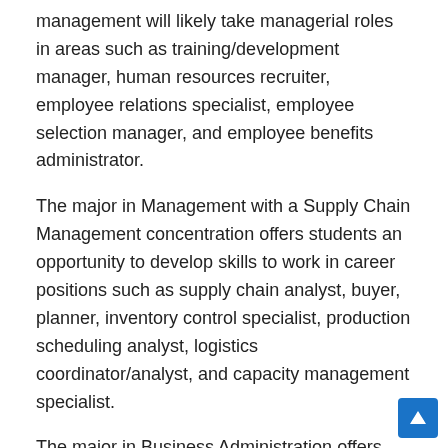management will likely take managerial roles in areas such as training/development manager, human resources recruiter, employee relations specialist, employee selection manager, and employee benefits administrator.
The major in Management with a Supply Chain Management concentration offers students an opportunity to develop skills to work in career positions such as supply chain analyst, buyer, planner, inventory control specialist, production scheduling analyst, logistics coordinator/analyst, and capacity management specialist.
The major in Business Administration offers preparation for general business careers for students who do not wish to choose a specific area of study in business.
The major in Business Innovation and Entrepreneurship offers students preparation for successful venture